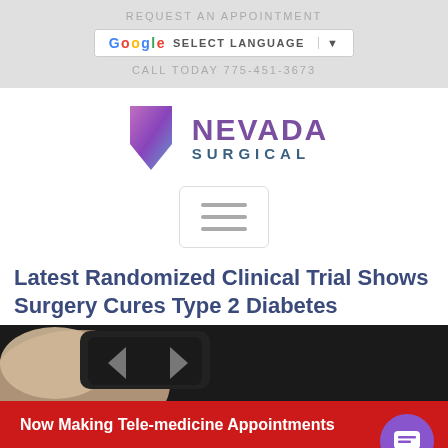REQUEST AN APPOINTMENT
SELECT LANGUAGE
CALL TODAY 775-451-3673
[Figure (logo): Nevada Surgical logo with purple Nevada state shape and text NEVADA SURGICAL]
[Figure (other): Hamburger menu button with three horizontal lines]
Latest Randomized Clinical Trial Shows Surgery Cures Type 2 Diabetes
[Figure (photo): Close-up photo of a hand pressing arrow buttons on a dark electronic device]
Now Making Tele-medicine Appointments - Call Today (775) 451-3673